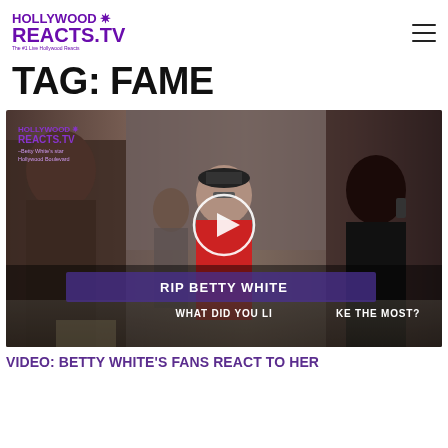HOLLYWOODREACTS.TV — The #1 Live Hollywood Reacts
TAG: FAME
[Figure (screenshot): Video thumbnail showing people on Hollywood Boulevard reacting to Betty White's death, with a play button overlay and text 'RIP BETTY WHITE – WHAT DID YOU LIKE THE MOST?' overlaid on the image, branded with HollywoodReacts.TV logo.]
VIDEO: BETTY WHITE'S FANS REACT TO HER